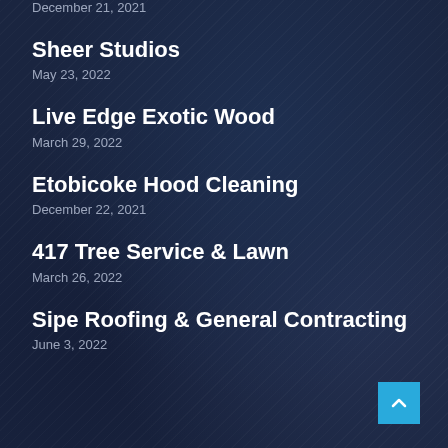December 21, 2021
Sheer Studios
May 23, 2022
Live Edge Exotic Wood
March 29, 2022
Etobicoke Hood Cleaning
December 22, 2021
417 Tree Service & Lawn
March 26, 2022
Sipe Roofing & General Contracting
June 3, 2022